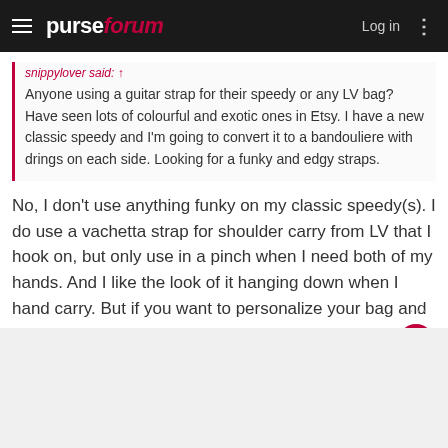purseforum — Log in
snippylover said: ↑
Anyone using a guitar strap for their speedy or any LV bag? Have seen lots of colourful and exotic ones in Etsy. I have a new classic speedy and I'm going to convert it to a bandouliere with drings on each side. Looking for a funky and edgy straps.
No, I don't use anything funky on my classic speedy(s). I do use a vachetta strap for shoulder carry from LV that I hook on, but only use in a pinch when I need both of my hands. And I like the look of it hanging down when I hand carry. But if you want to personalize your bag and make it funky, go for it. Be authentically you!